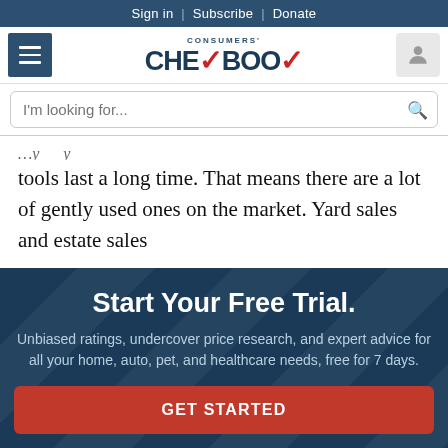Sign in | Subscribe | Donate
[Figure (logo): Consumers' Checkbook logo with red checkmark]
I'm looking for...
tools last a long time. That means there are a lot of gently used ones on the market. Yard sales and estate sales
Start Your Free Trial.
Unbiased ratings, undercover price research, and expert advice for all your home, auto, pet, and healthcare needs, free for 7 days.
GET STARTED
NO THANKS, MAYBE LATER.